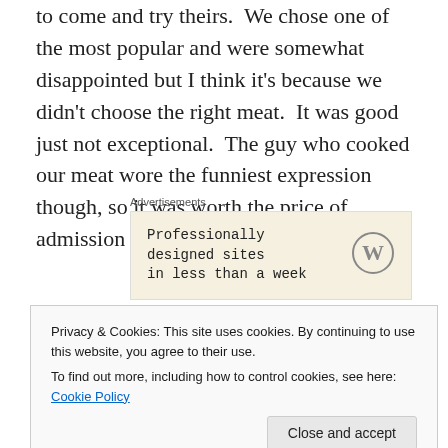to come and try theirs. We chose one of the most popular and were somewhat disappointed but I think it's because we didn't choose the right meat. It was good just not exceptional. The guy who cooked our meat wore the funniest expression though, so it was worth the price of admission just for that!
[Figure (other): WordPress advertisement box with text 'Professionally designed sites in less than a week' and WordPress logo]
We continued to learn a little bit more Spanish, I tried to absorb what I had learned already but I was having trouble
Privacy & Cookies: This site uses cookies. By continuing to use this website, you agree to their use. To find out more, including how to control cookies, see here: Cookie Policy
beginning to fall in love with the friendly people and the